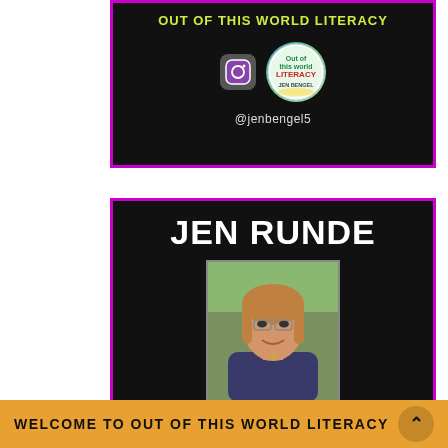[Figure (infographic): Black card with magenta border showing 'OUT OF THIS WORLD LITERACY' in yellow-green text, a circular logo, Instagram camera icon, and @jenbengel5 handle]
[Figure (infographic): Black card with magenta border showing 'JEN RUNDE' in large white bold text, a photo of a woman with glasses and long hair, and 'RUNDE'S ROOM' in yellow-green text]
WELCOME TO OUT OF THIS WORLD LITERACY